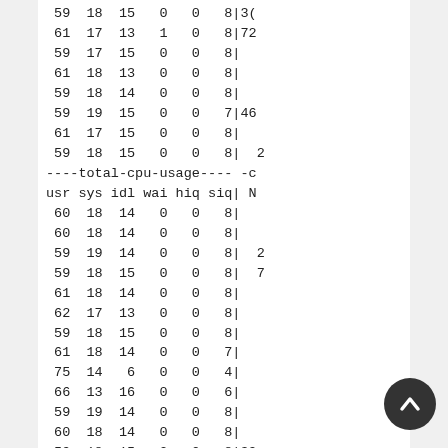59  18  15   0   0   8|3(
 61  17  13   1   0   8|72
 59  17  15   0   0   8|
 61  18  13   0   0   8|
 59  18  14   0   0   8|
 59  19  15   0   0   7|46
 61  17  15   0   0   8|
 59  18  15   0   0   8|  2
----total-cpu-usage---- -c
usr sys idl wai hiq siq| N
 60  18  14   0   0   8|
 60  18  14   0   0   8|
 59  19  14   0   0   8|  2
 59  18  15   0   0   8|  7
 61  18  14   0   0   8|
 62  17  13   0   0   8|
 59  18  15   0   0   8|
 61  18  14   0   0   7|
 75  14   6   0   0   4|
 66  13  16   0   0   6|
 59  19  14   0   0   8|
 60  18  14   0   0   8|
 59  18  15   0   0   8|39